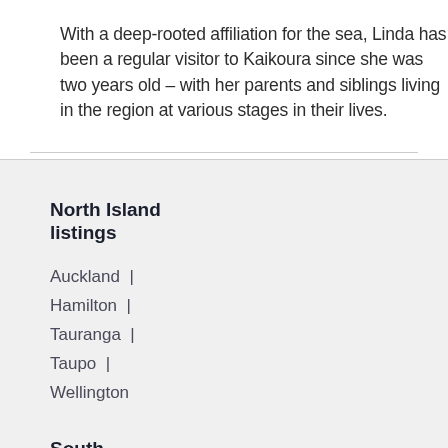With a deep-rooted affiliation for the sea, Linda has been a regular visitor to Kaikoura since she was two years old – with her parents and siblings living in the region at various stages in their lives.
North Island listings
Auckland  |
Hamilton  |
Tauranga  |
Taupo  |
Wellington
South Island